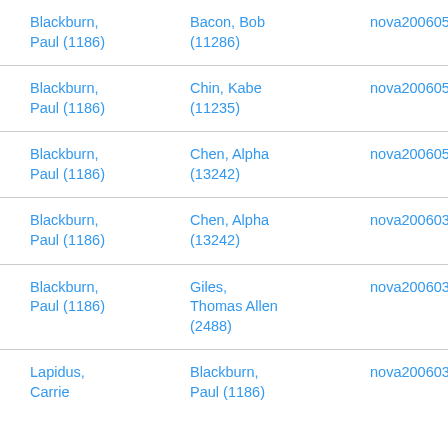| Blackburn, Paul (1186) | Bacon, Bob (11286) | nova20060520 |
| Blackburn, Paul (1186) | Chin, Kabe (11235) | nova20060520 |
| Blackburn, Paul (1186) | Chen, Alpha (13242) | nova20060520 |
| Blackburn, Paul (1186) | Chen, Alpha (13242) | nova20060325 |
| Blackburn, Paul (1186) | Giles, Thomas Allen (2488) | nova20060325 |
| Lapidus, Carrie | Blackburn, Paul (1186) | nova20060325 |